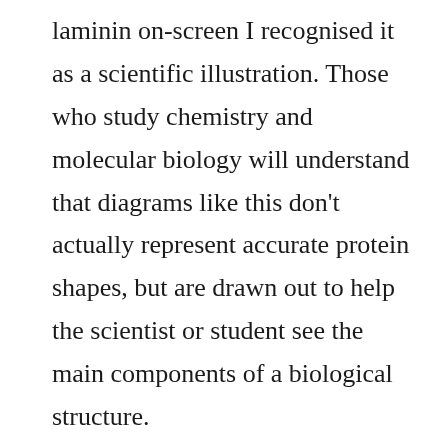laminin on-screen I recognised it as a scientific illustration. Those who study chemistry and molecular biology will understand that diagrams like this don't actually represent accurate protein shapes, but are drawn out to help the scientist or student see the main components of a biological structure.

You then also have to take into account that proteins move and change their conformation frequently. Giglio's electron microscope